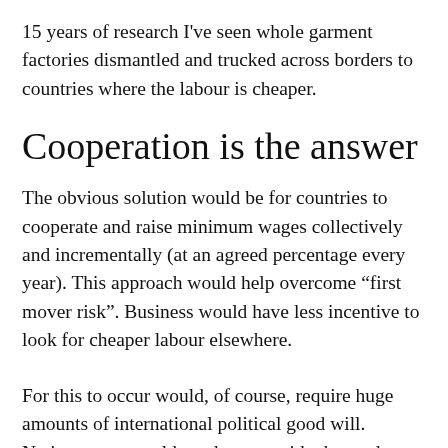15 years of research I've seen whole garment factories dismantled and trucked across borders to countries where the labour is cheaper.
Cooperation is the answer
The obvious solution would be for countries to cooperate and raise minimum wages collectively and incrementally (at an agreed percentage every year). This approach would help overcome “first mover risk”. Business would have less incentive to look for cheaper labour elsewhere.
For this to occur would, of course, require huge amounts of international political good will. Nation states would need to put aside the tendency to think in terms of immediate self-interest and work cooperatively for